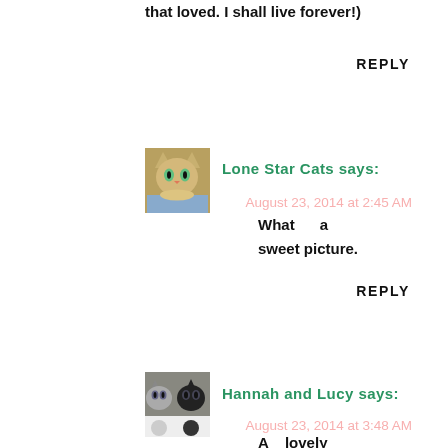that loved. I shall live forever!)
REPLY
Lone Star Cats says:
August 23, 2014 at 2:45 AM
What a sweet picture.
REPLY
Hannah and Lucy says:
August 23, 2014 at 3:48 AM
A lovely